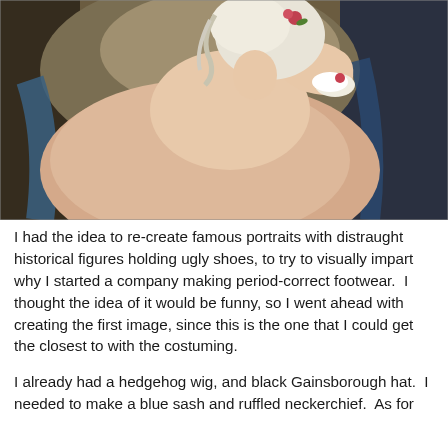[Figure (illustration): Classical oil painting portrait of a woman in 18th century dress — a pale pink gown with a blue sash and white ruffled cuffs, white powdered hair decorated with roses, one arm raised, set against a dark landscape background.]
I had the idea to re-create famous portraits with distraught historical figures holding ugly shoes, to try to visually impart why I started a company making period-correct footwear. I thought the idea of it would be funny, so I went ahead with creating the first image, since this is the one that I could get the closest to with the costuming.
I already had a hedgehog wig, and black Gainsborough hat. I needed to make a blue sash and ruffled neckerchief. As for